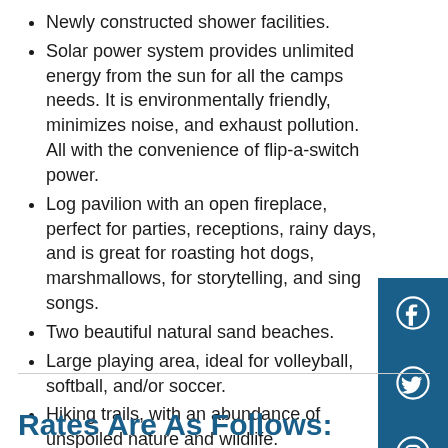Newly constructed shower facilities.
Solar power system provides unlimited energy from the sun for all the camps needs. It is environmentally friendly, minimizes noise, and exhaust pollution. All with the convenience of flip-a-switch power.
Log pavilion with an open fireplace, perfect for parties, receptions, rainy days, and is great for roasting hot dogs, marshmallows, for storytelling, and sing songs.
Two beautiful natural sand beaches.
Large playing area, ideal for volleyball, softball, and/or soccer.
Hiking trails, with an abundance of unspoiled nature and wildlife.
The Brian King Nature Trail.
[Figure (infographic): Vertical social media icon bar with Facebook, Twitter, Instagram, and LinkedIn icons on a dark blue background]
Rates Are As Follows: